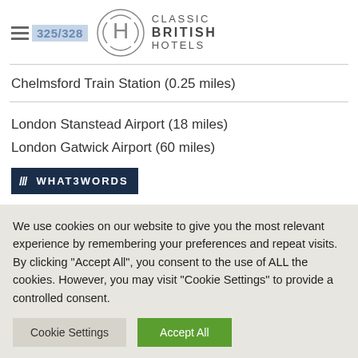Classic British Hotels — 325/328
Chelmsford Train Station (0.25 miles)
London Stanstead Airport (18 miles)
London Gatwick Airport (60 miles)
[Figure (logo): What3Words badge/logo with dark navy background and white text]
We use cookies on our website to give you the most relevant experience by remembering your preferences and repeat visits. By clicking "Accept All", you consent to the use of ALL the cookies. However, you may visit "Cookie Settings" to provide a controlled consent.